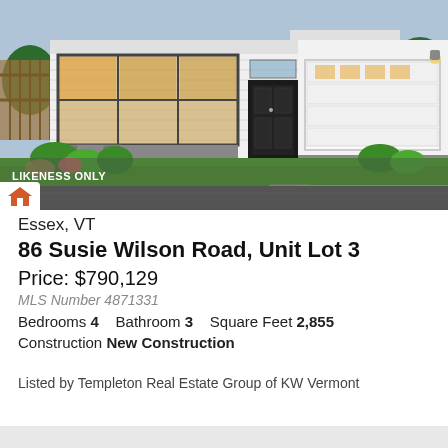[Figure (illustration): Rendered illustration of a modern single-story white house with large windows, dark front door, two-car garage, landscaping with shrubs and trees, and a driveway. Text overlay reads LIKENESS ONLY. Orange house icon in bottom-left corner.]
Essex, VT
86 Susie Wilson Road, Unit Lot 3
Price: $790,129
MLS Number 4871331
Bedrooms 4    Bathroom 3    Square Feet 2,855
Construction New Construction
Listed by Templeton Real Estate Group of KW Vermont